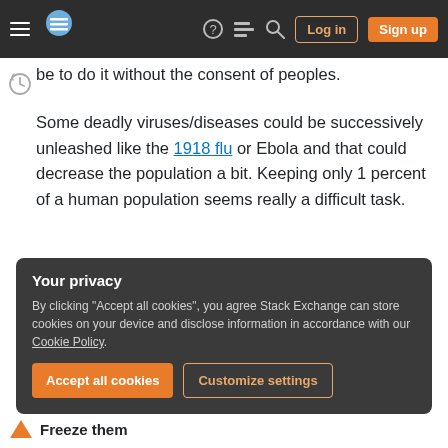Stack Exchange navigation bar with hamburger menu, logo, help, chat, search icons, Log in and Sign up buttons
be to do it without the consent of peoples.
Some deadly viruses/diseases could be successively unleashed like the 1918 flu or Ebola and that could decrease the population a bit. Keeping only 1 percent of a human population seems really a difficult task.
Some nuclear war may be efficient enough to kill a huge amount of population but who would pull the trigger ?
Your privacy
By clicking "Accept all cookies", you agree Stack Exchange can store cookies on your device and disclose information in accordance with our Cookie Policy.
Accept all cookies  Customize settings
Freeze them